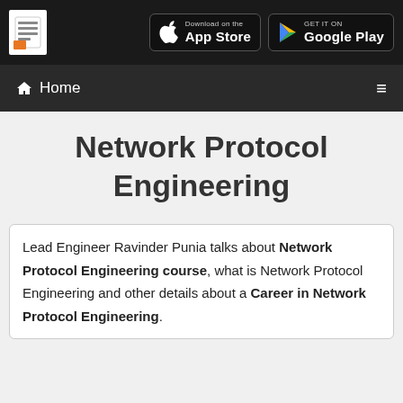Download on the App Store | GET IT ON Google Play
Home
Network Protocol Engineering
Lead Engineer Ravinder Punia talks about Network Protocol Engineering course, what is Network Protocol Engineering and other details about a Career in Network Protocol Engineering.